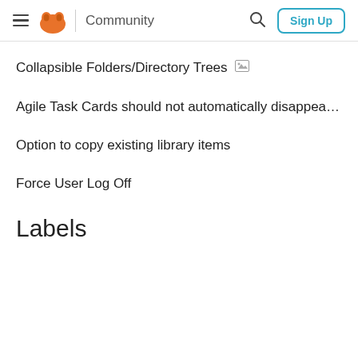Community  Sign Up
Collapsible Folders/Directory Trees
Agile Task Cards should not automatically disappea…
Option to copy existing library items
Force User Log Off
Labels